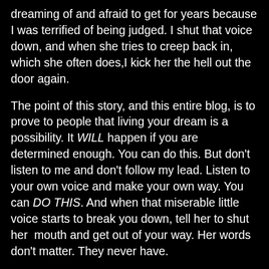dreaming of and afraid to get for years because I was terrified of being judged. I shut that voice down, and when she tries to creep back in, which she often does,I kick her the hell out the door again.
The point of this story, and this entire blog, is to prove to people that living your dream is a possibility. It WILL happen if you are determined enough. You can do this. But don't listen to me and don't follow my lead. Listen to your own voice and make your own way. You can DO THIS. And when that miserable little voice starts to break you down, tell her to shut her mouth and get out of your way. Her words don't matter. They never have.